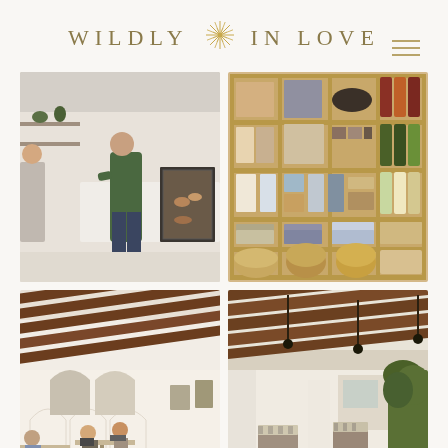WILDLY IN LOVE
[Figure (photo): Interior of a café/bakery with a person in a green sweater standing at the counter, display case with baked goods, plants on shelves above]
[Figure (photo): Wooden shelf unit filled with products including bottles of wine, packaged goods, folded textiles, and woven baskets]
[Figure (photo): Interior of a restaurant/café with white arched walls, wooden ceiling beams, people seated at tables]
[Figure (photo): Outdoor patio area with wooden pergola beams overhead, white columns, striped cushions on chairs, greenery]